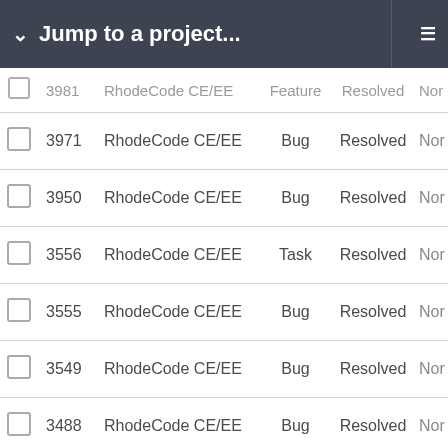Jump to a project...
|  | ID | Project | Type | Status |  |
| --- | --- | --- | --- | --- | --- |
|  | 3981 | RhodeCode CE/EE | Feature | Resolved | Nor |
|  | 3971 | RhodeCode CE/EE | Bug | Resolved | Nor |
|  | 3950 | RhodeCode CE/EE | Bug | Resolved | Nor |
|  | 3556 | RhodeCode CE/EE | Task | Resolved | Nor |
|  | 3555 | RhodeCode CE/EE | Bug | Resolved | Nor |
|  | 3549 | RhodeCode CE/EE | Bug | Resolved | Nor |
|  | 3488 | RhodeCode CE/EE | Bug | Resolved | Nor |
|  | 3357 | RhodeCode CE/EE | Bug | Resolved | Nor |